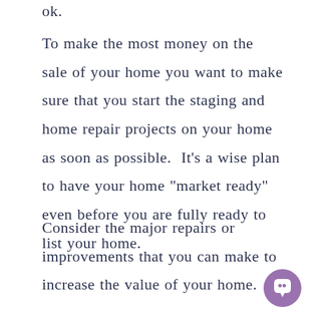ok.
To make the most money on the sale of your home you want to make sure that you start the staging and home repair projects on your home as soon as possible.  It’s a wise plan to have your home “market ready” even before you are fully ready to list your home.
Consider the major repairs or improvements that you can make to increase the value of your home.
[Figure (illustration): Purple circular chat/message button icon in the bottom right corner]